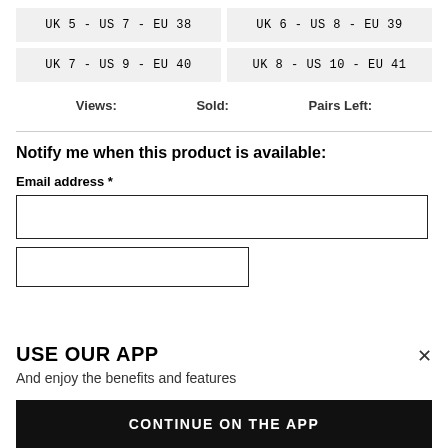UK 5 - US 7 - EU 38
UK 6 - US 8 - EU 39
UK 7 - US 9 - EU 40
UK 8 - US 10 - EU 41
Views:    Sold:    Pairs Left:
Notify me when this product is available:
Email address *
USE OUR APP
And enjoy the benefits and features
CONTINUE ON THE APP